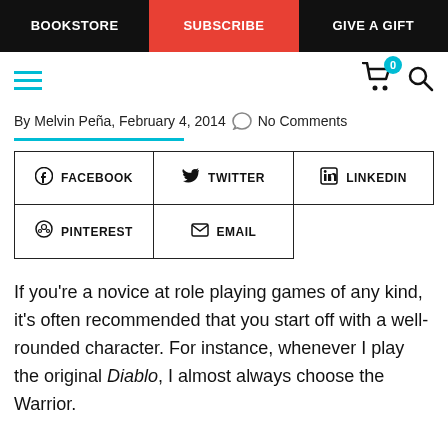BOOKSTORE | SUBSCRIBE | GIVE A GIFT
By Melvin Peña, February 4, 2014  No Comments
FACEBOOK | TWITTER | LINKEDIN | PINTEREST | EMAIL
If you're a novice at role playing games of any kind, it's often recommended that you start off with a well-rounded character. For instance, whenever I play the original Diablo, I almost always choose the Warrior.